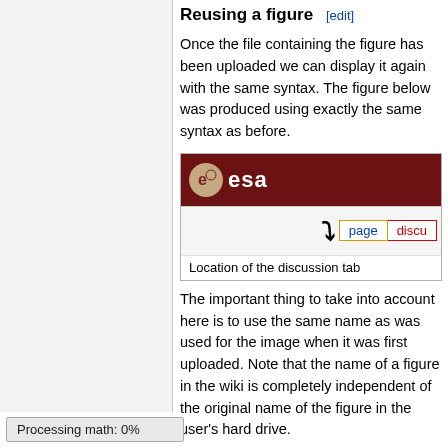Reusing a figure [edit]
Once the file containing the figure has been uploaded we can display it again with the same syntax. The figure below was produced using exactly the same syntax as before.
[Figure (screenshot): Screenshot of ESA wiki page showing the ESA logo header in dark red/brown, navigation tabs with 'page' and 'discu' visible, and a black arrow annotation pointing to the discussion tab. Caption reads 'Location of the discussion tab'.]
Location of the discussion tab
The important thing to take into account here is to use the same name as was used for the image when it was first uploaded. Note that the name of a figure in the wiki is completely independent of the original name of the figure in the user's hard drive.
List of figures available in the
Processing math: 0%